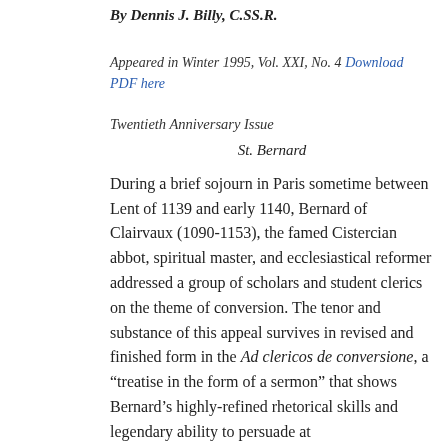By Dennis J. Billy, C.SS.R.
Appeared in Winter 1995, Vol. XXI, No. 4 Download PDF here
Twentieth Anniversary Issue
St. Bernard
During a brief sojourn in Paris sometime between Lent of 1139 and early 1140, Bernard of Clairvaux (1090-1153), the famed Cistercian abbot, spiritual master, and ecclesiastical reformer addressed a group of scholars and student clerics on the theme of conversion. The tenor and substance of this appeal survives in revised and finished form in the Ad clericos de conversione, a “treatise in the form of a sermon” that shows Bernard’s highly-refined rhetorical skills and legendary ability to persuade at